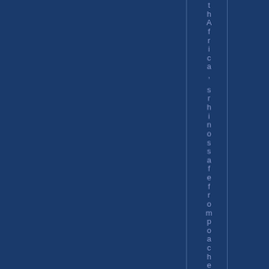thAfrica, s rhinossafefrompoache
[Figure (other): Dark navy blue background with two vertical lines and vertical text reading 'thAfrica, s rhinossafefrompoache' arranged character by character downward]